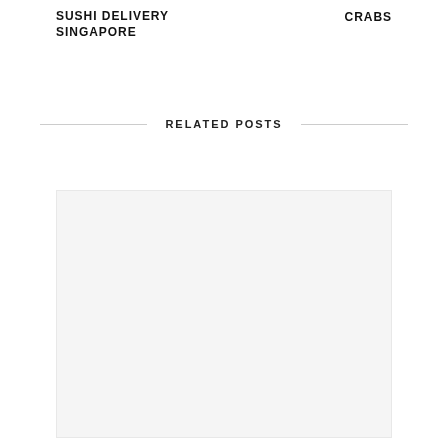SUSHI DELIVERY SINGAPORE
CRABS
RELATED POSTS
[Figure (photo): Large image placeholder area below the Related Posts section heading]